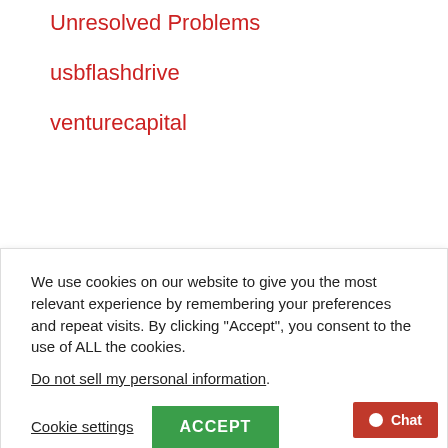Unresolved Problems
usbflashdrive
venturecapital
We use cookies on our website to give you the most relevant experience by remembering your preferences and repeat visits. By clicking “Accept”, you consent to the use of ALL the cookies.
Do not sell my personal information.
Cookie settings
ACCEPT
docks but this new version looks awesome!
We love and have used 1password for years and it's fantastic!security